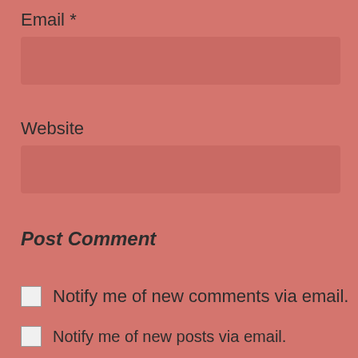Email *
Website
Post Comment
Notify me of new comments via email.
Notify me of new posts via email.
Follow Just A Small Town Girl...